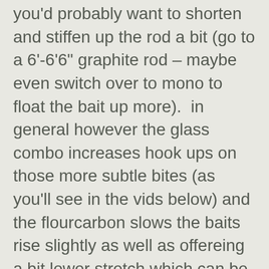you'd probably want to shorten and stiffen up the rod a bit (go to a 6'-6'6" graphite rod – maybe even switch over to mono to float the bait up more).  in general however the glass combo increases hook ups on those more subtle bites (as you'll see in the vids below) and the flourcarbon slows the baits rise slightly as well as offereing a bit lower stretch which can be integral when it comes to post-frontal/cold water fish.
here's a playlist of square bill fish from winter thru spring.  if you watch all the vids you'll see a bit of a pattern, nearly all the fish come off a reaction  bite – usually after ripping the bait off grass or wood.  some of the best water for